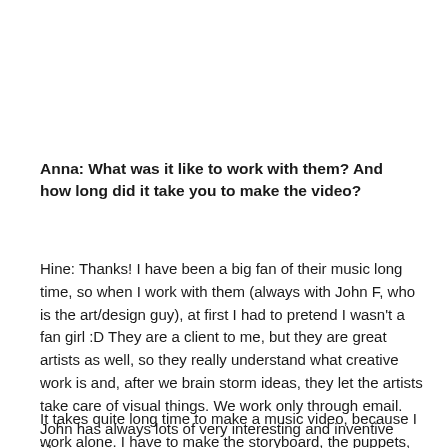Anna: What was it like to work with them? And how long did it take you to make the video?
Hine: Thanks! I have been a big fan of their music long time, so when I work with them (always with John F, who is the art/design guy), at first I had to pretend I wasn't a fan girl :D They are a client to me, but they are great artists as well, so they really understand what creative work is and, after we brain storm ideas, they let the artists take care of visual things. We work only through email. John has always lots of very interesting and inventive ideas.
It takes quite long time to make a music video, because I work alone. I have to make the storyboard, the puppets, props and